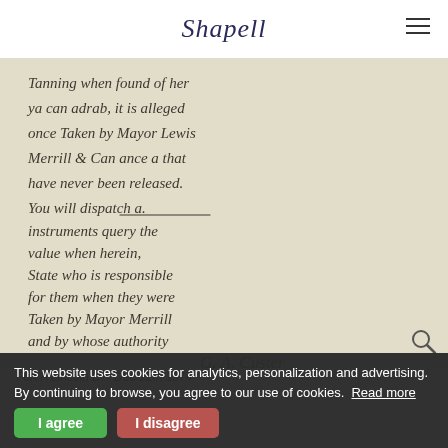Shapell
[Figure (photo): Handwritten manuscript letter page showing cursive script in ink on aged paper. The text appears to be a historical letter discussing tanning, with references to Major Lewis Merrill and Fort A Lincoln. The handwriting is 19th century American cursive style.]
This website uses cookies for analytics, personalization and advertising. By continuing to browse, you agree to our use of cookies. Read more
Fort A Lincoln D
Dec 12th 1874